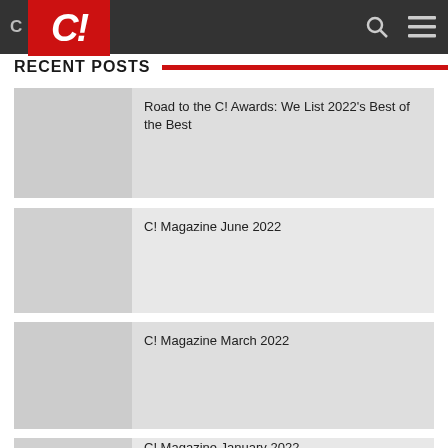C! [logo] [search icon] [menu icon]
RECENT POSTS
Road to the C! Awards: We List 2022's Best of the Best
C! Magazine June 2022
C! Magazine March 2022
C! Magazine January 2022